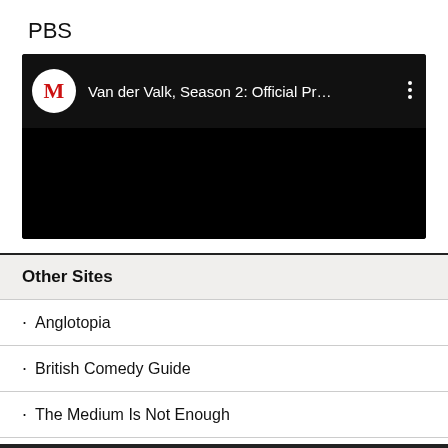PBS
[Figure (screenshot): Embedded YouTube-style video player showing 'Van der Valk, Season 2: Official Pr...' with a red M logo on white circle, black video area, and vertical dots menu icon]
Other Sites
Anglotopia
British Comedy Guide
The Medium Is Not Enough